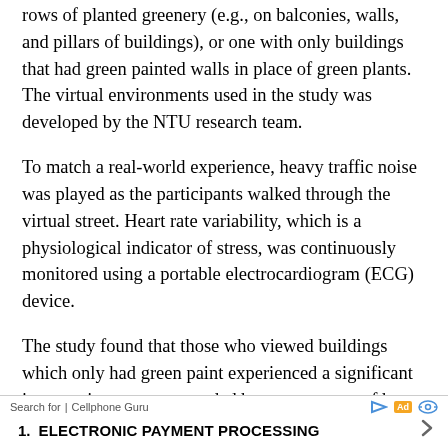rows of planted greenery (e.g., on balconies, walls, and pillars of buildings), or one with only buildings that had green painted walls in place of green plants. The virtual environments used in the study was developed by the NTU research team.
To match a real-world experience, heavy traffic noise was played as the participants walked through the virtual street. Heart rate variability, which is a physiological indicator of stress, was continuously monitored using a portable electrocardiogram (ECG) device.
The study found that those who viewed buildings which only had green paint experienced a significant increase in stress as recorded by one measure of heart rate variability, while those who viewed the buildings with the green plants did not experience any change in
Search for | Cellphone Guru  [Ad]  1. ELECTRONIC PAYMENT PROCESSING